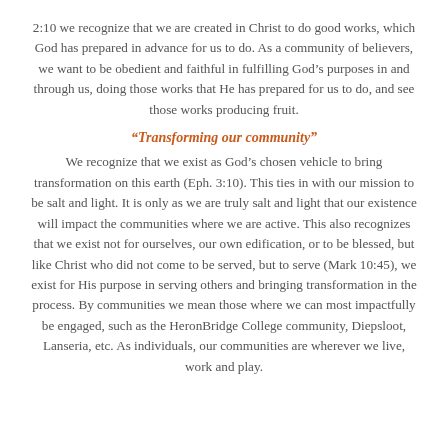2:10 we recognize that we are created in Christ to do good works, which God has prepared in advance for us to do. As a community of believers, we want to be obedient and faithful in fulfilling God's purposes in and through us, doing those works that He has prepared for us to do, and see those works producing fruit.
“Transforming our community”
We recognize that we exist as God’s chosen vehicle to bring transformation on this earth (Eph. 3:10). This ties in with our mission to be salt and light. It is only as we are truly salt and light that our existence will impact the communities where we are active. This also recognizes that we exist not for ourselves, our own edification, or to be blessed, but like Christ who did not come to be served, but to serve (Mark 10:45), we exist for His purpose in serving others and bringing transformation in the process. By communities we mean those where we can most impactfully be engaged, such as the HeronBridge College community, Diepsloot, Lanseria, etc. As individuals, our communities are wherever we live, work and play.